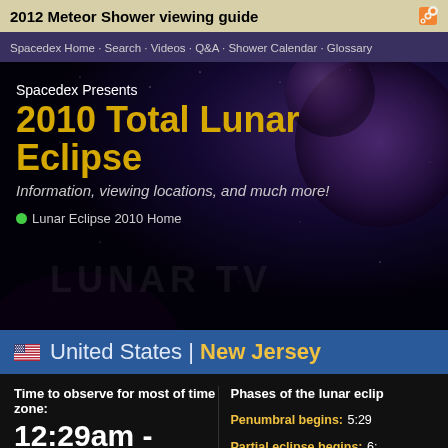2012 Meteor Shower viewing guide
Spacedex Home · Search · Videos · Q&A · Shower Calendar · Glossary
[Figure (screenshot): Spacedex hero banner for 2010 Total Lunar Eclipse with dark space background and planet imagery]
Spacedex Presents 2010 Total Lunar Eclipse
Information, viewing locations, and much more!
Lunar Eclipse 2010 Home
United States | New Jersey
Time to observe for most of time zone:
12:29am - 06:05am (EST)
Phases of the lunar eclip
Penumbral begins: 5:29
Partial eclipse begins: 6: